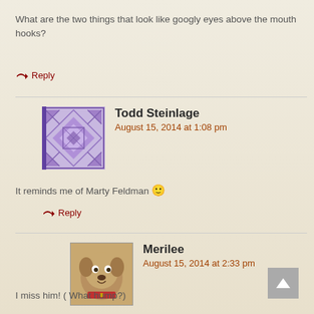What are the two things that look like googly eyes above the mouth hooks?
↳ Reply
Todd Steinlage
August 15, 2014 at 1:08 pm
It reminds me of Marty Feldman 🙂
↳ Reply
Merilee
August 15, 2014 at 2:33 pm
I miss him! ( What hump?)